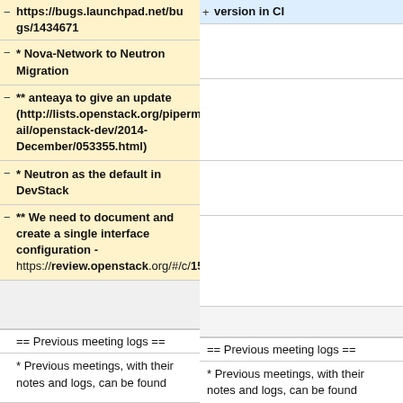- https://bugs.launchpad.net/bugs/1434671
+ version in CI
- * Nova-Network to Neutron Migration
- ** anteaya to give an update (http://lists.openstack.org/pipermail/openstack-dev/2014-December/053355.html)
- * Neutron as the default in DevStack
- ** We need to document and create a single interface configuration - https://review.openstack.org/#/c/153208/
== Previous meeting logs ==
== Previous meeting logs ==
* Previous meetings, with their notes and logs, can be found
* Previous meetings, with their notes and logs, can be found